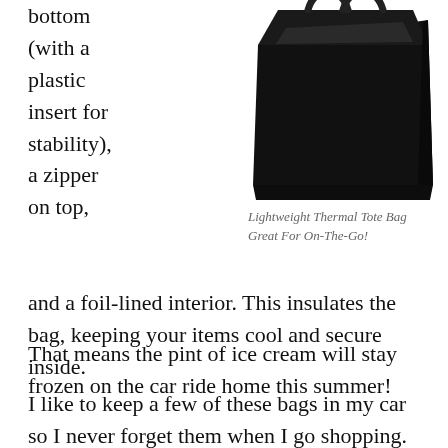bottom (with a plastic insert for stability), a zipper on top,
[Figure (photo): A black lightweight thermal tote bag with a cube shape, shown with an open top revealing the interior, against a white background.]
Lightweight Thermal Tote Bag Great For On-The-Go!
and a foil-lined interior. This insulates the bag, keeping your items cool and secure inside.
That means the pint of ice cream will stay frozen on the car ride home this summer!
I like to keep a few of these bags in my car so I never forget them when I go shopping. Because of their foldable structure, they lay flat and fit